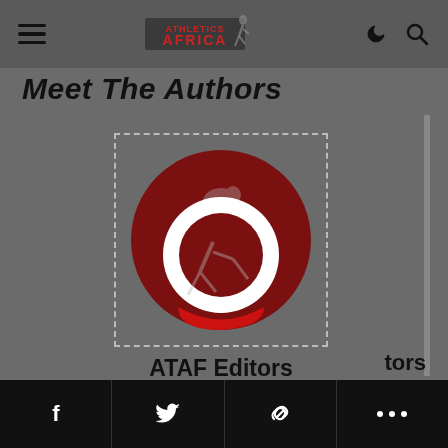Athletics Africa — navigation bar with hamburger menu, logo, dark mode and search icons
Meet The Authors
[Figure (logo): ATAF Editors circular logo: dark red circle with stylized running figure silhouette, white ring overlay in the lower half, and a dark red accent at the bottom. Enclosed in a dashed rectangular border.]
ATAF Editors
The Editorial Board at AthleticsAfrica | Website | + Posts
Share bar with Facebook, Twitter, Link, and More (…) buttons; partial text 'tors' visible at right